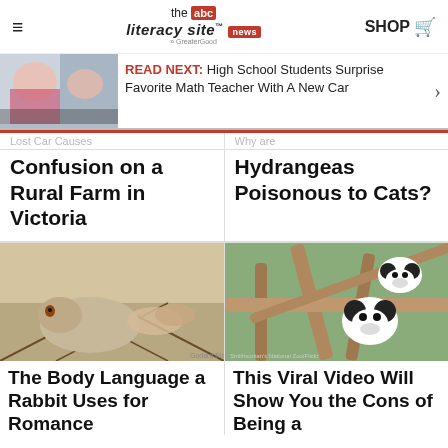the literacy site news — SHOP
[Figure (screenshot): Read Next banner with thumbnail image of children and text: READ NEXT: High School Students Surprise Favorite Math Teacher With A New Car]
Lost Car Causes (partial, cut off)
Confusion on a Rural Farm in Victoria
Why are (partial, cut off)
Hydrangeas Poisonous to Cats?
[Figure (photo): A rabbit lying on a patterned rug]
The Body Language a Rabbit Uses for Romance
[Figure (photo): Two panda cubs climbing on a wooden log structure outdoors]
This Viral Video Will Show You the Cons of Being a